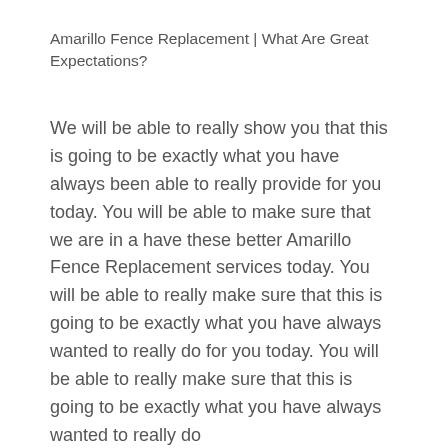Amarillo Fence Replacement | What Are Great Expectations?
We will be able to really show you that this is going to be exactly what you have always been able to really provide for you today. You will be able to make sure that we are in a have these better Amarillo Fence Replacement services today. You will be able to really make sure that this is going to be exactly what you have always wanted to really do for you today. You will be able to really make sure that this is going to be exactly what you have always wanted to really do